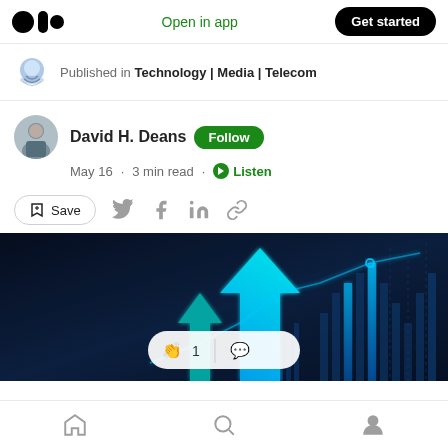Open in app | Get started
Published in Technology | Media | Telecom
David H. Deans · Follow · May 16 · 3 min read · Listen
Save
[Figure (illustration): Dark blue financial chart graphic with glowing blue arrows, bar charts, and line graphs on a dark navy background. A clap button overlay shows '1' clap and a comment icon.]
Home | Search | Profile